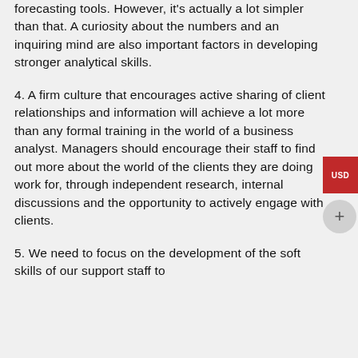forecasting tools. However, it's actually a lot simpler than that. A curiosity about the numbers and an inquiring mind are also important factors in developing stronger analytical skills.
4. A firm culture that encourages active sharing of client relationships and information will achieve a lot more than any formal training in the world of a business analyst. Managers should encourage their staff to find out more about the world of the clients they are doing work for, through independent research, internal discussions and the opportunity to actively engage with clients.
5. We need to focus on the development of the soft skills of our support staff to